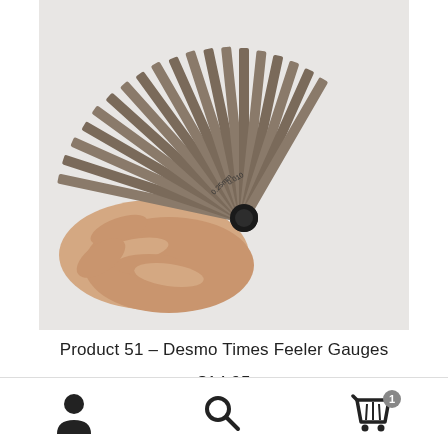[Figure (photo): A hand holding a feeler gauge set fanned out in a semi-circle, showing multiple thin metal blades/strips spread like a fan. The blades are metallic/grey, the pivot is black, and a hand is visible at the bottom left holding the gauge. Background is white/light grey.]
Product 51 – Desmo Times Feeler Gauges
$14.95
[Figure (illustration): Bottom navigation bar with three icons: a user/person icon on the left, a magnifying glass/search icon in the center, and a shopping cart icon with a badge showing '1' on the right.]